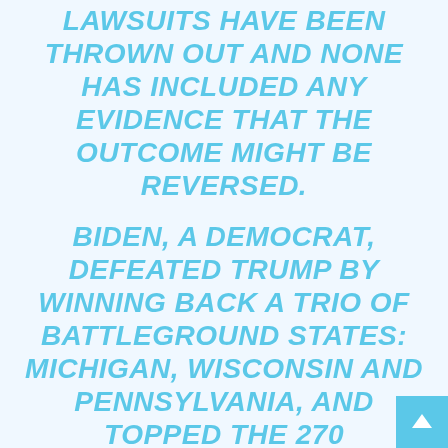LAWSUITS HAVE BEEN THROWN OUT AND NONE HAS INCLUDED ANY EVIDENCE THAT THE OUTCOME MIGHT BE REVERSED.
BIDEN, A DEMOCRAT, DEFEATED TRUMP BY WINNING BACK A TRIO OF BATTLEGROUND STATES: MICHIGAN, WISCONSIN AND PENNSYLVANIA, AND TOPPED THE 270 ELECTORAL VOTE THRESHOLD TO CLINCH THE PRESIDENCY. BIDEN SO FAR HAS 78.8 MILLION VOTES, THE MOST EVER BY A WINNING CANDIDATE, TO TRUMP'S 73.1 MILLION.